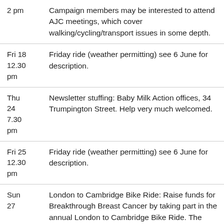| Time | Description |
| --- | --- |
| 2 pm | Campaign members may be interested to attend AJC meetings, which cover walking/cycling/transport issues in some depth. |
| Fri 18
12.30
pm | Friday ride (weather permitting) see 6 June for description. |
| Thu
24
7.30
pm | Newsletter stuffing: Baby Milk Action offices, 34 Trumpington Street. Help very much welcomed. |
| Fri 25
12.30
pm | Friday ride (weather permitting) see 6 June for description. |
| Sun
27 | London to Cambridge Bike Ride: Raise funds for Breakthrough Breast Cancer by taking part in the annual London to Cambridge Bike Ride. The |